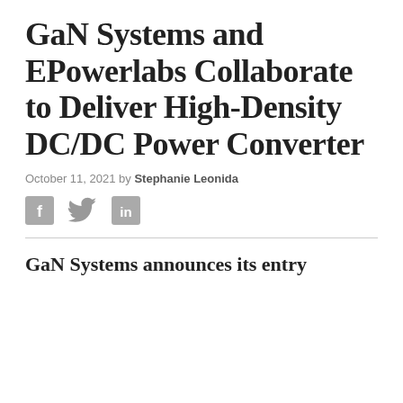GaN Systems and EPowerlabs Collaborate to Deliver High-Density DC/DC Power Converter
October 11, 2021 by Stephanie Leonida
[Figure (other): Social media sharing icons: Facebook, Twitter, LinkedIn]
GaN Systems announces its entry